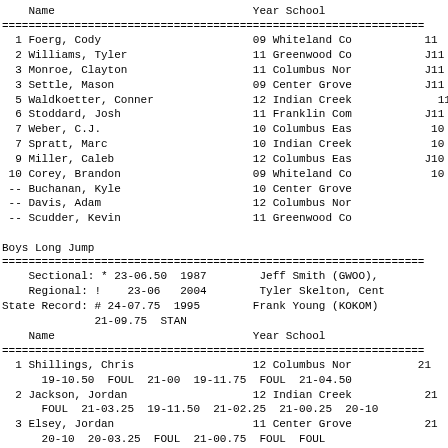| Name | Year | School |
| --- | --- | --- |
| 1 Foerg, Cody | 09 | Whiteland Co |
| 2 Williams, Tyler | 11 | Greenwood Co |
| 3 Monroe, Clayton | 11 | Columbus Nor |
| 3 Settle, Mason | 09 | Center Grove |
| 5 Waldkoetter, Conner | 12 | Indian Creek |
| 6 Stoddard, Josh | 11 | Franklin Com |
| 7 Weber, C.J. | 10 | Columbus Eas |
| 7 Spratt, Marc | 10 | Indian Creek |
| 9 Miller, Caleb | 12 | Columbus Eas |
| 10 Corey, Brandon | 09 | Whiteland Co |
| -- Buchanan, Kyle | 10 | Center Grove |
| -- Davis, Adam | 12 | Columbus Nor |
| -- Scudder, Kevin | 11 | Greenwood Co |
Boys Long Jump
| Name | Year | School |
| --- | --- | --- |
| Sectional: * 23-06.50 1987 |  | Jeff Smith (GWOO), |
| Regional: !    23-06 2004 |  | Tyler Skelton, Cent |
| State Record: # 24-07.75 1995 |  | Frank Young (KOKOM) |
|  | 21-09.75 STAN |  |
| 1 Shillings, Chris | 12 | Columbus Nor |
|   19-10.50  FOUL  21-00  19-11.75  FOUL  21-04.50 |  |  |
| 2 Jackson, Jordan | 12 | Indian Creek |
|   FOUL  21-03.25  19-11.50  21-02.25  21-00.25  20-10 |  |  |
| 3 Elsey, Jordan | 11 | Center Grove |
|   20-10  20-03.25  FOUL  21-00.75  FOUL  FOUL |  |  |
| 4 Moran, Jacob | 11 | Franklin Com |